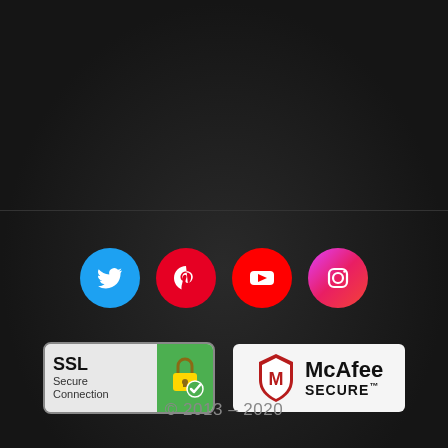[Figure (infographic): Social media icon row: Twitter (blue circle), Pinterest (red circle), YouTube (red circle), Instagram (pink/magenta circle)]
[Figure (infographic): SSL Secure Connection badge and McAfee SECURE badge side by side]
© 2013 – 2020